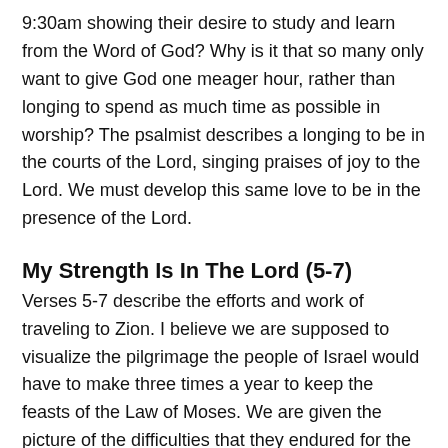9:30am showing their desire to study and learn from the Word of God? Why is it that so many only want to give God one meager hour, rather than longing to spend as much time as possible in worship? The psalmist describes a longing to be in the courts of the Lord, singing praises of joy to the Lord. We must develop this same love to be in the presence of the Lord.
My Strength Is In The Lord (5-7)
Verses 5-7 describe the efforts and work of traveling to Zion. I believe we are supposed to visualize the pilgrimage the people of Israel would have to make three times a year to keep the feasts of the Law of Moses. We are given the picture of the difficulties that they endured for the opportunity to worship the Lord. They go through the valley of Baca (which means the valley of weeping) to the place of